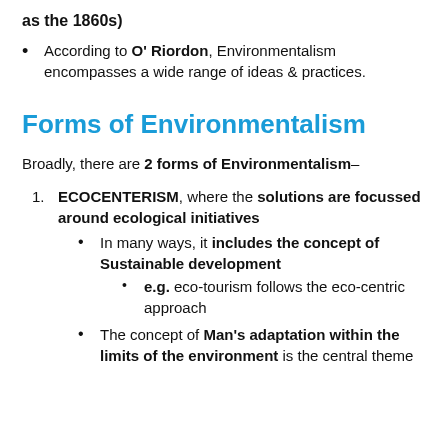as the 1860s)
According to O' Riordon, Environmentalism encompasses a wide range of ideas & practices.
Forms of Environmentalism
Broadly, there are 2 forms of Environmentalism–
ECOCENTERISM, where the solutions are focussed around ecological initiatives
In many ways, it includes the concept of Sustainable development
e.g. eco-tourism follows the eco-centric approach
The concept of Man's adaptation within the limits of the environment is the central theme